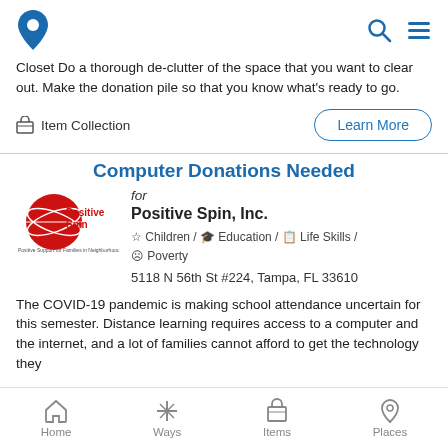Givergy app header with logo, search, and menu icons
Closet Do a thorough de-clutter of the space that you want to clear out. Make the donation pile so that you know what's ready to go.
Item Collection
Learn More
Computer Donations Needed
for
[Figure (logo): Positive Spin Inc. logo — red globe with orbit rings and text 'Positive Spin' in red/white with tagline]
Positive Spin, Inc.
☆ Children / 🎓 Education / 📋 Life Skills / ☹ Poverty
5118 N 56th St #224, Tampa, FL 33610
The COVID-19 pandemic is making school attendance uncertain for this semester. Distance learning requires access to a computer and the internet, and a lot of families cannot afford to get the technology they
Home  Ways  Items  Places